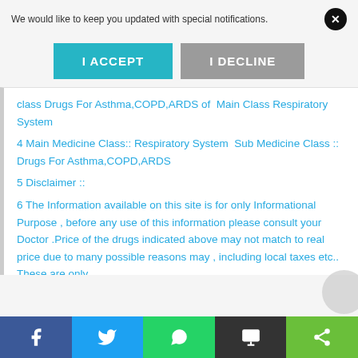We would like to keep you updated with special notifications.
I ACCEPT
I DECLINE
class Drugs For Asthma,COPD,ARDS of  Main Class Respiratory System
4 Main Medicine Class:: Respiratory System  Sub Medicine Class :: Drugs For Asthma,COPD,ARDS
5 Disclaimer ::
6 The Information available on this site is for only Informational Purpose , before any use of this information please consult your Doctor .Price of the drugs indicated above may not match to real price due to many possible reasons may , including local taxes etc.. These are only